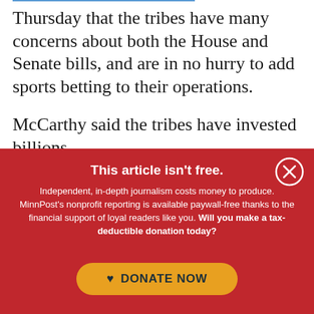Thursday that the tribes have many concerns about both the House and Senate bills, and are in no hurry to add sports betting to their operations.
McCarthy said the tribes have invested billions
This article isn't free.
Independent, in-depth journalism costs money to produce. MinnPost's nonprofit reporting is available paywall-free thanks to the financial support of loyal readers like you. Will you make a tax-deductible donation today?
DONATE NOW